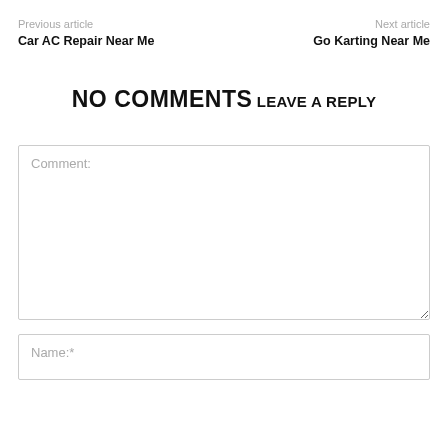Previous article
Next article
Car AC Repair Near Me
Go Karting Near Me
NO COMMENTS
LEAVE A REPLY
Comment:
Name:*